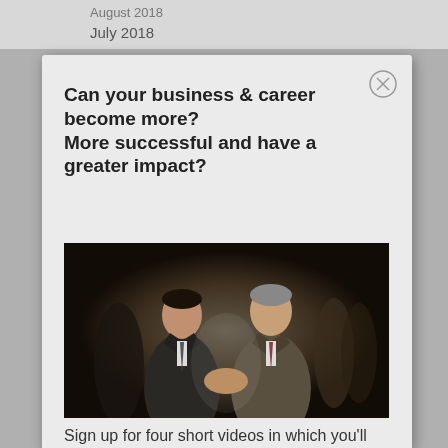August 2018
July 2018
Can your business & career become more?
More successful and have a greater impact?
[Figure (photo): Two men in suits shaking hands on a dark stage, facing each other and smiling]
Sign up for four short videos in which you'll discover the Biblical model for business. Your views of business will